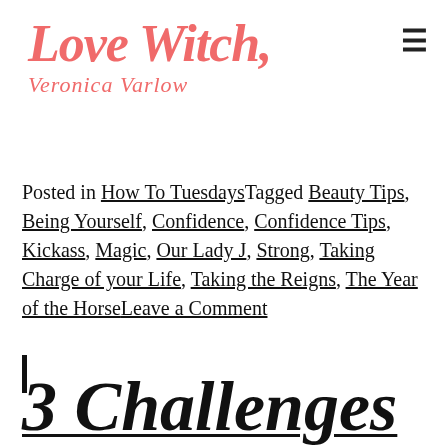Love Witch Veronica Varlow
Posted in How To TuesdaysTagged Beauty Tips, Being Yourself, Confidence, Confidence Tips, Kickass, Magic, Our Lady J, Strong, Taking Charge of your Life, Taking the Reigns, The Year of the HorseLeave a Comment
3 Challenges to Live Wild in